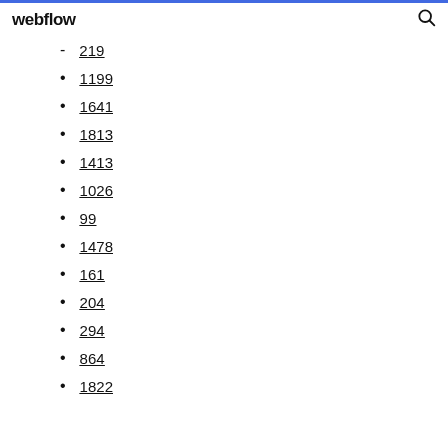webflow
219
1199
1641
1813
1413
1026
99
1478
161
204
294
864
1822